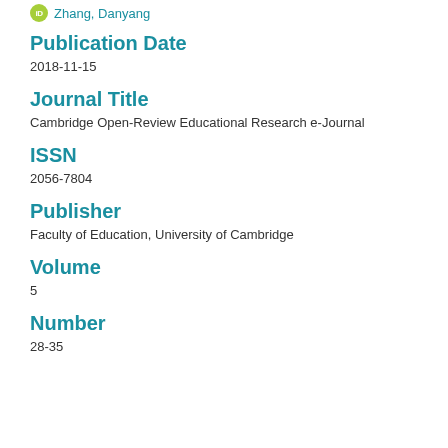Zhang, Danyang
Publication Date
2018-11-15
Journal Title
Cambridge Open-Review Educational Research e-Journal
ISSN
2056-7804
Publisher
Faculty of Education, University of Cambridge
Volume
5
Number
28-35